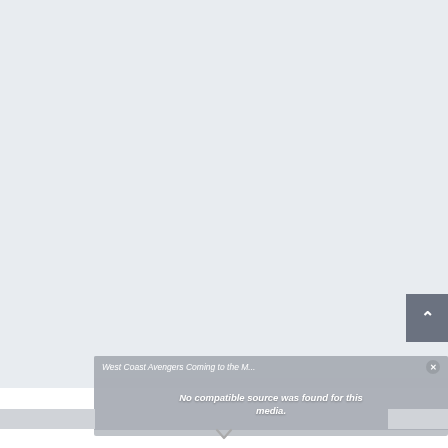[Figure (screenshot): A webpage screenshot showing a light gray background (approximately top 85% of page), with a dark gray scroll-to-top button with an upward chevron arrow at the far right edge, a video player overlay panel in the lower portion showing title 'West Coast Avengers Coming to the M...' with a close button, and the message 'No compatible source was found for this media.' overlaid on a dark thumbnail. Below the video overlay is a white area with a small downward chevron icon.]